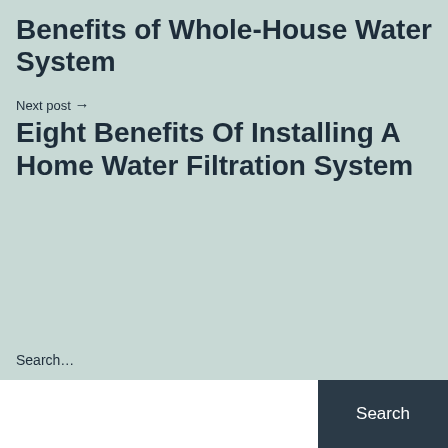Benefits of Whole-House Water System
Next post →
Eight Benefits Of Installing A Home Water Filtration System
Search…
Search